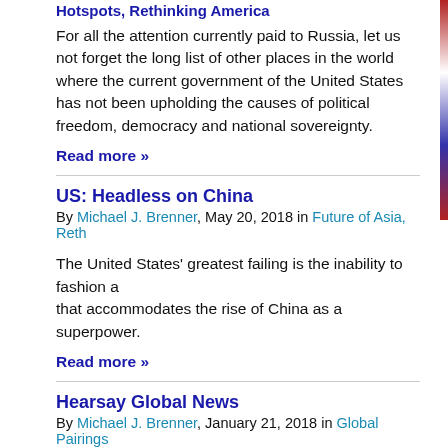Hotspots, Rethinking America
For all the attention currently paid to Russia, let us not forget the long list of other places in the world where the current government of the United States has not been upholding the causes of political freedom, democracy and national sovereignty.
Read more »
US: Headless on China
By Michael J. Brenner, May 20, 2018 in Future of Asia, Reth
The United States' greatest failing is the inability to fashion a that accommodates the rise of China as a superpower.
Read more »
Hearsay Global News
By Michael J. Brenner, January 21, 2018 in Global Pairings